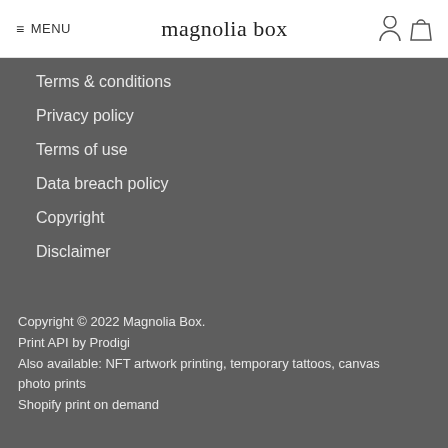≡ MENU  magnolia box
Terms & conditions
Privacy policy
Terms of use
Data breach policy
Copyright
Disclaimer
Copyright © 2022 Magnolia Box.
Print API by Prodigi
Also available: NFT artwork printing, temporary tattoos, canvas photo prints
Shopify print on demand